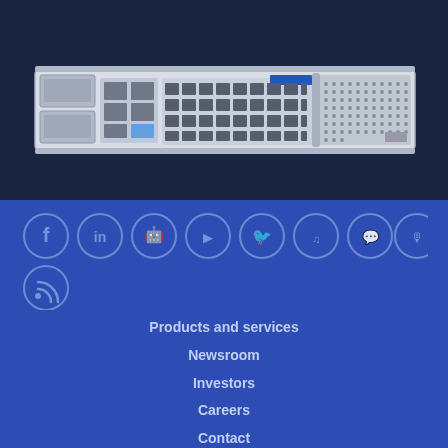[Figure (photo): Network appliance / rackmount server hardware device, white 1U chassis with multiple ports and ventilation slots, front panel view]
[Figure (infographic): Row of social media icon circles: Facebook, LinkedIn, SlideShare/robot, YouTube, Twitter, SoundCloud, chat/video, podcast, RSS]
Products and services
Newsroom
Investors
Careers
Contact